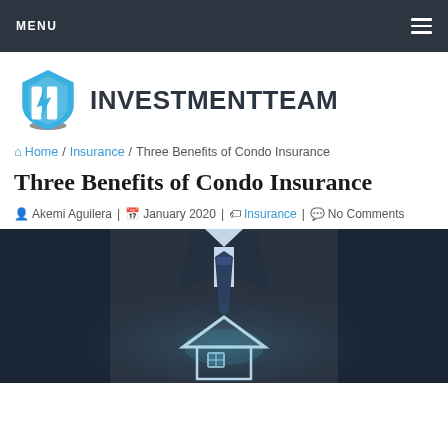MENU
[Figure (logo): InvestmentTeam logo with blue shield icon and bold dark text INVESTMENTTEAM]
Home / Insurance / Three Benefits of Condo Insurance
Three Benefits of Condo Insurance
Akemi Aguilera | January 2020 | Insurance | No Comments
[Figure (photo): Man in dark suit and tie holding a glowing house icon, dark blue background]